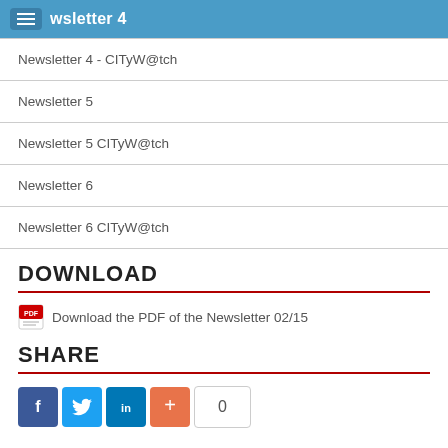Newsletter 4
Newsletter 4 - CITyW@tch
Newsletter 5
Newsletter 5 CITyW@tch
Newsletter 6
Newsletter 6 CITyW@tch
DOWNLOAD
Download the PDF of the Newsletter 02/15
SHARE